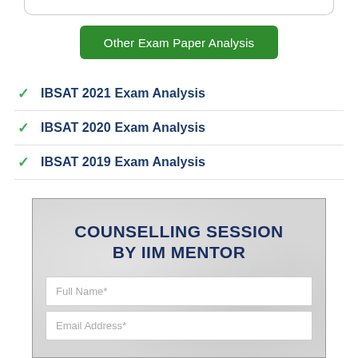[Figure (other): Bottom border of a rounded box at the top of the page]
Other Exam Paper Analysis
IBSAT 2021 Exam Analysis
IBSAT 2020 Exam Analysis
IBSAT 2019 Exam Analysis
[Figure (infographic): Counselling session form with title 'COUNSELLING SESSION BY IIM MENTOR' and two input fields: Full Name* and Email Address*]